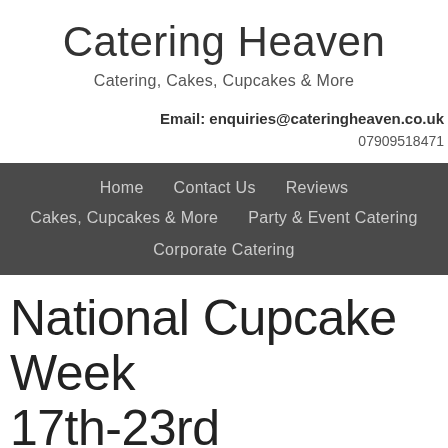Catering Heaven
Catering, Cakes, Cupcakes & More
Email: enquiries@cateringheaven.co.uk
07909518471
Home   Contact Us   Reviews   Cakes, Cupcakes & More   Party & Event Catering   Corporate Catering
National Cupcake Week 17th-23rd September